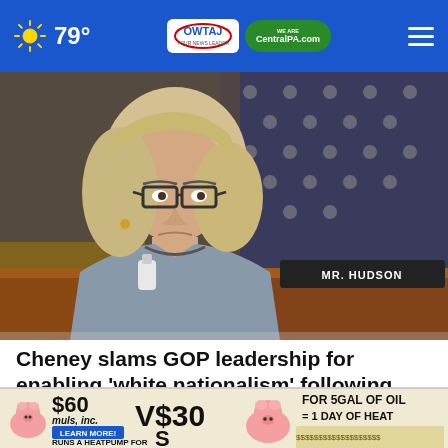79° | WTAJ CentralPA.com
[Figure (photo): Woman with glasses sitting at a congressional hearing desk with an American flag backdrop and a nameplate reading MR. HUDSON]
Cheney slams GOP leadership for enabling 'white nationalism' following Buffalo shooting
[Figure (infographic): Advertisement: $60 muls, inc. LEARN MORE! RUNS A HEATPUMP FOR 1 MONTH! VS30 S FOR 5GAL OF OIL = 1 DAY OF HEAT]